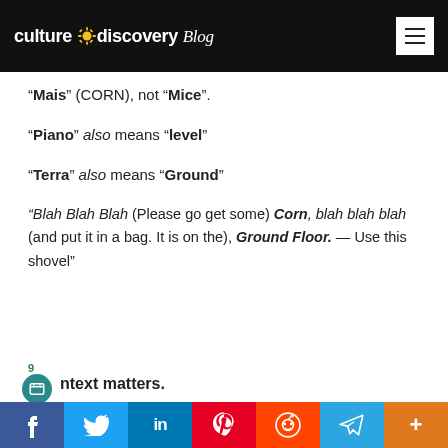culturediscovery Blog
"Mais" (CORN), not "Mice".
"Piano" also means "level"
"Terra" also means "Ground"
"Blah Blah Blah (Please go get some) Corn, blah blah blah (and put it in a bag. It is on the), Ground Floor. — Use this shovel"
9
ntext matters.
f  Twitter  in  Pinterest  Reddit  Telegram  +